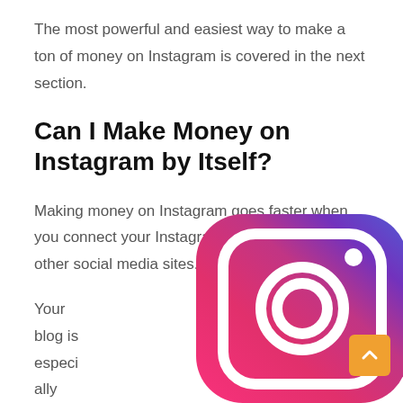The most powerful and easiest way to make a ton of money on Instagram is covered in the next section.
Can I Make Money on Instagram by Itself?
Making money on Instagram goes faster when you connect your Instagram profile to a blog and other social media sites.
Your blog is especially
[Figure (logo): Instagram logo icon with gradient background from purple-blue to pink-magenta, showing camera outline with circle and dot, rounded square shape]